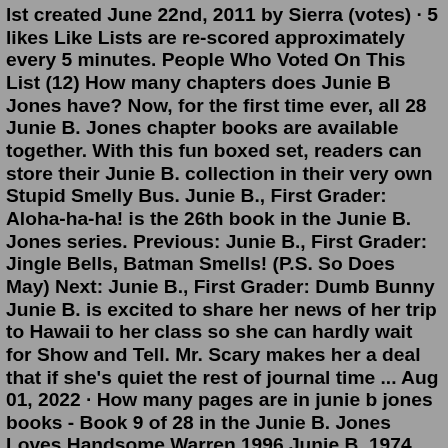lst created June 22nd, 2011 by Sierra (votes) · 5 likes Like Lists are re-scored approximately every 5 minutes. People Who Voted On This List (12) How many chapters does Junie B Jones have? Now, for the first time ever, all 28 Junie B. Jones chapter books are available together. With this fun boxed set, readers can store their Junie B. collection in their very own Stupid Smelly Bus. Junie B., First Grader: Aloha-ha-ha! is the 26th book in the Junie B. Jones series. Previous: Junie B., First Grader: Jingle Bells, Batman Smells! (P.S. So Does May) Next: Junie B., First Grader: Dumb Bunny Junie B. is excited to share her news of her trip to Hawaii to her class so she can hardly wait for Show and Tell. Mr. Scary makes her a deal that if she's quiet the rest of journal time ... Aug 01, 2022 · How many pages are in junie b jones books - Book 9 of 28 in the Junie B. Jones Loves Handsome Warren 1996 Junie B. 1974 and the university of tennessee phd 1981. Denise Brunkus Illustrator Illustrated By. Book 6. Junie B. Jones and That Meanie Jim's Birthday. by Barbara Park. 3.99 · 7,274